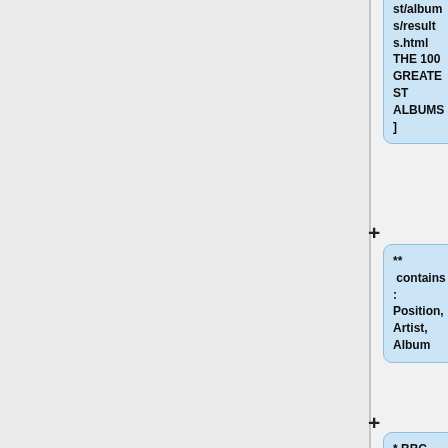st/albums/results.html THE 100 GREATEST ALBUMS]
** contains: Position, Artist, Album
* BBC Radio 1 Singles Chart [http://www.bbc.co.uk/radio1/chart/singles.shtml Radio 1 Singles chart]
** contains: Title, Artist, Photo, artist url, record label
* BBC Radio 1 Download Chart